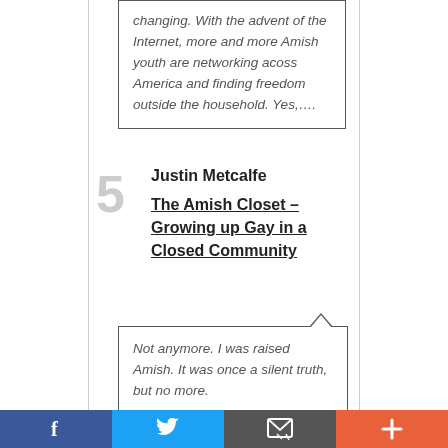changing. With the advent of the Internet, more and more Amish youth are networking acoss America and finding freedom outside the household. Yes,....
5  Justin Metcalfe  The Amish Closet – Growing up Gay in a Closed Community
Not anymore. I was raised Amish. It was once a silent truth, but no more.
[Figure (other): Social share bar with Facebook, Twitter, Email, and plus/share buttons]